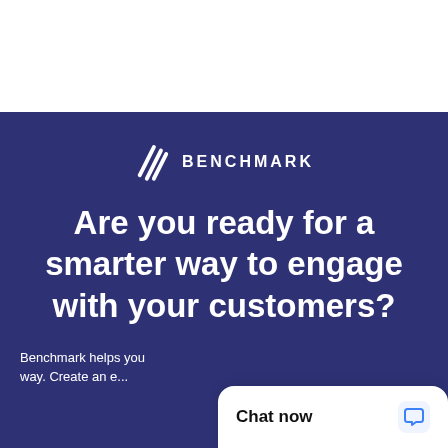[Figure (logo): White space section at top of page]
[Figure (logo): Benchmark logo with stylized diagonal lines icon and BENCHMARK text in white on dark navy background]
Are you ready for a smarter way to engage with your customers?
Benchmark helps you...way. Create an e...
[Figure (screenshot): Chat now widget overlay in bottom right corner with chat bubble icon in blue]